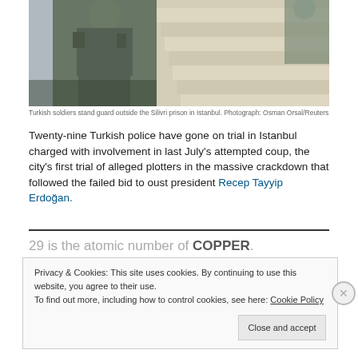[Figure (photo): Turkish soldiers standing guard outside the Silivri prison in Istanbul, with stone steps in the background. Soldiers in camouflage military gear.]
Turkish soldiers stand guard outside the Silivri prison in Istanbul. Photograph: Osman Orsal/Reuters
Twenty-nine Turkish police have gone on trial in Istanbul charged with involvement in last July's attempted coup, the city's first trial of alleged plotters in the massive crackdown that followed the failed bid to oust president Recep Tayyip Erdoğan.
29 is the atomic number of COPPER.
Privacy & Cookies: This site uses cookies. By continuing to use this website, you agree to their use.
To find out more, including how to control cookies, see here: Cookie Policy